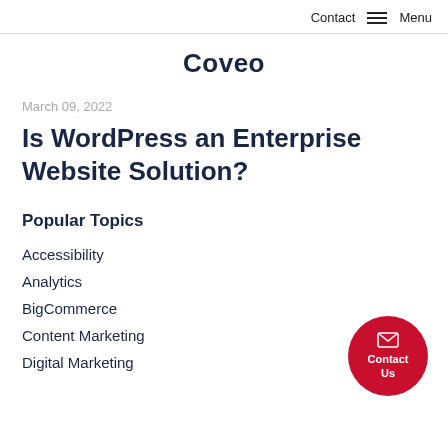Contact  Menu
Coveo
March 09, 2022
Is WordPress an Enterprise Website Solution?
Popular Topics
Accessibility
Analytics
BigCommerce
Content Marketing
Digital Marketing
[Figure (illustration): Red circular Contact Us button with envelope icon]